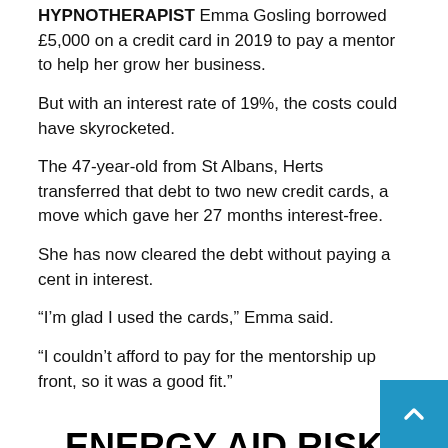HYPNOTHERAPIST Emma Gosling borrowed £5,000 on a credit card in 2019 to pay a mentor to help her grow her business.
But with an interest rate of 19%, the costs could have skyrocketed.
The 47-year-old from St Albans, Herts transferred that debt to two new credit cards, a move which gave her 27 months interest-free.
She has now cleared the debt without paying a cent in interest.
“I’m glad I used the cards,” Emma said.
“I couldn’t afford to pay for the mentorship up front, so it was a good fit.”
ENERGY AID RISK FROM TENANTS